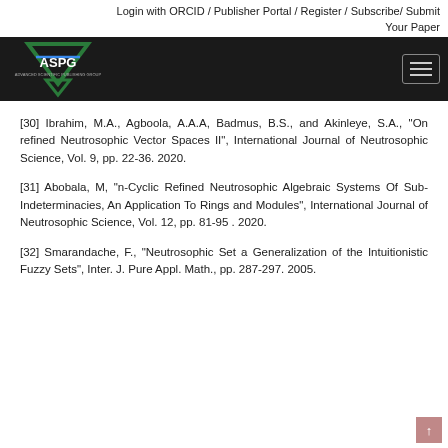Login with ORCID / Publisher Portal / Register / Subscribe/ Submit Your Paper
[Figure (logo): ASPG logo on dark navigation bar with hamburger menu button on the right]
[30] Ibrahim, M.A., Agboola, A.A.A, Badmus, B.S., and Akinleye, S.A., "On refined Neutrosophic Vector Spaces II", International Journal of Neutrosophic Science, Vol. 9, pp. 22-36. 2020.
[31] Abobala, M, "n-Cyclic Refined Neutrosophic Algebraic Systems Of Sub-Indeterminacies, An Application To Rings and Modules", International Journal of Neutrosophic Science, Vol. 12, pp. 81-95 . 2020.
[32] Smarandache, F., "Neutrosophic Set a Generalization of the Intuitionistic Fuzzy Sets", Inter. J. Pure Appl. Math., pp. 287-297. 2005.